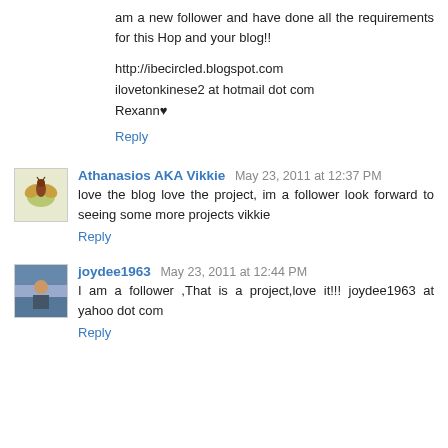am a new follower and have done all the requirements for this Hop and your blog!!
http://ibecircled.blogspot.com
ilovetonkinese2 at hotmail dot com
Rexann♥
Reply
Athanasios AKA Vikkie  May 23, 2011 at 12:37 PM
love the blog love the project, im a follower look forward to seeing some more projects vikkie
Reply
joydee1963  May 23, 2011 at 12:44 PM
I am a follower ,That is a project,love it!!! joydee1963 at yahoo dot com
Reply